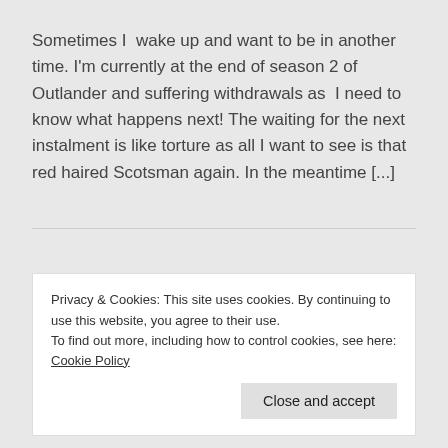Sometimes I  wake up and want to be in another time. I'm currently at the end of season 2 of Outlander and suffering withdrawals as  I need to know what happens next! The waiting for the next instalment is like torture as all I want to see is that red haired Scotsman again. In the meantime [...]
EQUALITY, FANTASY, FIRESTORM VIEWER, FLICKR, LINDEN LAB, LOVERS, MAD PEA, PLACES OF INTEREST, QUIRKY HABITS, REALITY, ROSEMOOR,
Privacy & Cookies: This site uses cookies. By continuing to use this website, you agree to their use.
To find out more, including how to control cookies, see here: Cookie Policy
Close and accept